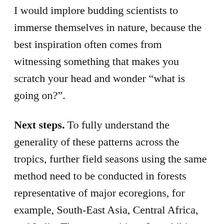I would implore budding scientists to immerse themselves in nature, because the best inspiration often comes from witnessing something that makes you scratch your head and wonder “what is going on?”.
Next steps. To fully understand the generality of these patterns across the tropics, further field seasons using the same method need to be conducted in forests representative of major ecoregions, for example, South-East Asia, Central Africa, and India. The communities of amphibians in these far-removed forests are only distantly related, for example, frogs in Madagascar have been isolated for ~80 million years. Thus, the processes of evolution and selection may have shaped communities to react to seasonal climate in unique ways. Equally, we may find that a downward descent during dry seasons is a convergent mechanism